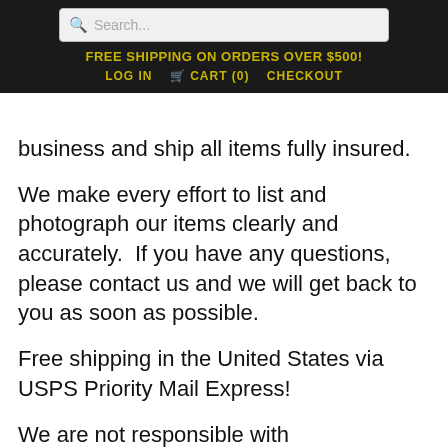Search...
FREE SHIPPING ON ORDERS OVER $500!
LOG IN   🛒 CART (0)   CHECKOUT
business and ship all items fully insured.
We make every effort to list and photograph our items clearly and accurately.  If you have any questions, please contact us and we will get back to you as soon as possible.
Free shipping in the United States via USPS Priority Mail Express!
We are not responsible with